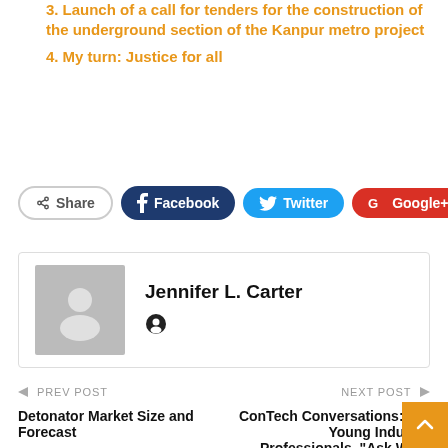3. Launch of a call for tenders for the construction of the underground section of the Kanpur metro project
4. My turn: Justice for all
Share Facebook Twitter Google+ +
Jennifer L. Carter
← PREV POST   Detonator Market Size and Forecast
NEXT POST →   ConTech Conversations: For Young Industry Professionals. "Ask What